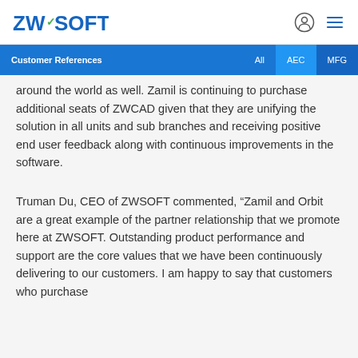ZWSOFT
Customer References | All | AEC | MFG
around the world as well. Zamil is continuing to purchase additional seats of ZWCAD given that they are unifying the solution in all units and sub branches and receiving positive end user feedback along with continuous improvements in the software.
Truman Du, CEO of ZWSOFT commented, “Zamil and Orbit are a great example of the partner relationship that we promote here at ZWSOFT. Outstanding product performance and support are the core values that we have been continuously delivering to our customers. I am happy to say that customers who purchase